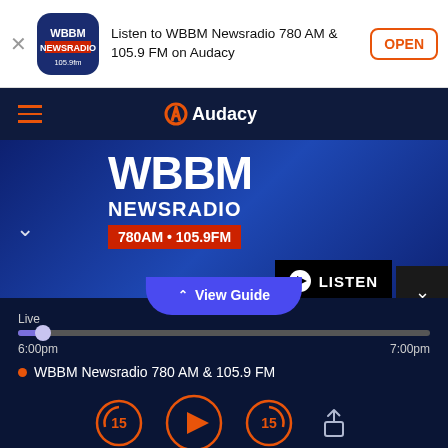[Figure (screenshot): App install banner: WBBM Newsradio icon with 'Listen to WBBM Newsradio 780 AM & 105.9 FM on Audacy' text and OPEN button]
[Figure (screenshot): Audacy navigation bar with hamburger menu icon and Audacy logo]
[Figure (screenshot): WBBM Newsradio hero banner showing WBBM NEWSRADIO 780AM + 105.9FM with LISTEN button]
View Guide
Live
6:00pm
7:00pm
WBBM Newsradio 780 AM & 105.9 FM
WBBM Newsradio
Live On-Air
6:00pm To 7:00pm UTC